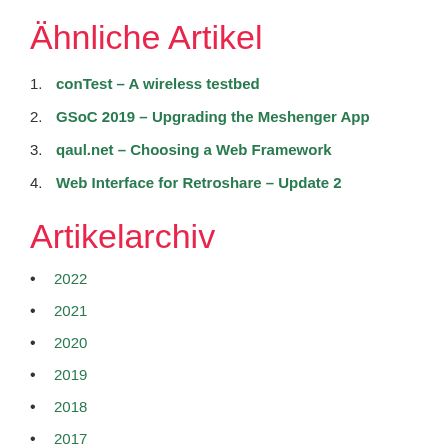Ähnliche Artikel
1. conTest – A wireless testbed
2. GSoC 2019 – Upgrading the Meshenger App
3. qaul.net – Choosing a Web Framework
4. Web Interface for Retroshare – Update 2
Artikelarchiv
2022
2021
2020
2019
2018
2017